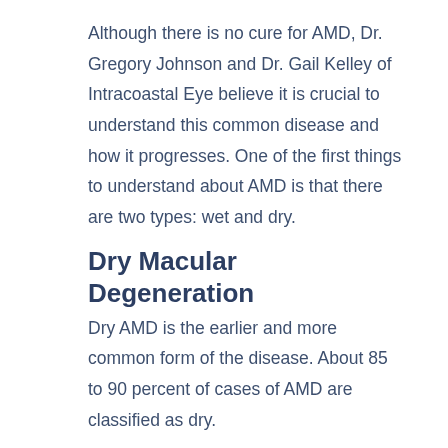Although there is no cure for AMD, Dr. Gregory Johnson and Dr. Gail Kelley of Intracoastal Eye believe it is crucial to understand this common disease and how it progresses. One of the first things to understand about AMD is that there are two types: wet and dry.
Dry Macular Degeneration
Dry AMD is the earlier and more common form of the disease. About 85 to 90 percent of cases of AMD are classified as dry.
In dry AMD, the macula’s cells atrophy and the layers of the macula thin. Consequently, the macula’s function starts to deteriorate. Tiny yellow deposits called drusen appear on the retina, contributing to the atrophy of the macula.